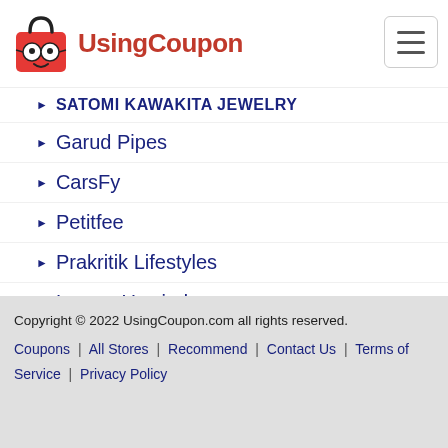UsingCoupon
SATOMI KAWAKITA JEWELRY
Garud Pipes
CarsFy
Petitfee
Prakritik Lifestyles
Luxury Unwind
Mo.JR
Kansa Organics
Rasoi Shop
Copyright © 2022 UsingCoupon.com all rights reserved. Coupons | All Stores | Recommend | Contact Us | Terms of Service | Privacy Policy